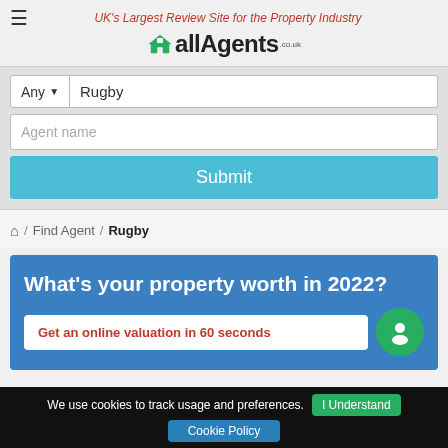UK's Largest Review Site for the Property Industry | allAgents.co.uk
[Figure (screenshot): Search form with Any dropdown, Rugby location input, Agent name input, and Submit button]
🏠 / Find Agent / Rugby
[Figure (infographic): Blue banner: What's your property worth in 2022? Get an online valuation in 60 seconds]
We use cookies to track usage and preferences. I Understand
Cookie Policy